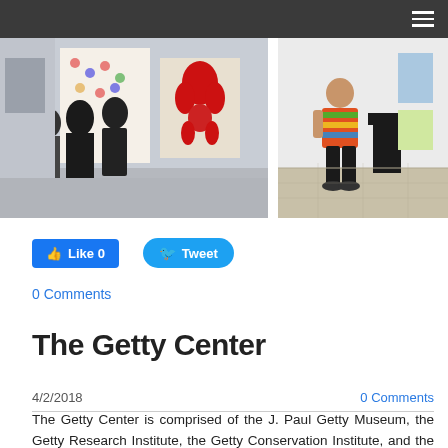[Figure (photo): Gallery interior with several visitors viewing artwork; a large red balloon dog sculpture visible on the wall in the background.]
[Figure (photo): A person in a colorful striped shirt standing in an art gallery corridor next to a black pedestal/kiosk.]
Like 0
Tweet
0 Comments
The Getty Center
4/2/2018
0 Comments
The Getty Center is comprised of the J. Paul Getty Museum, the Getty Research Institute, the Getty Conservation Institute, and the Getty Foundation. I...